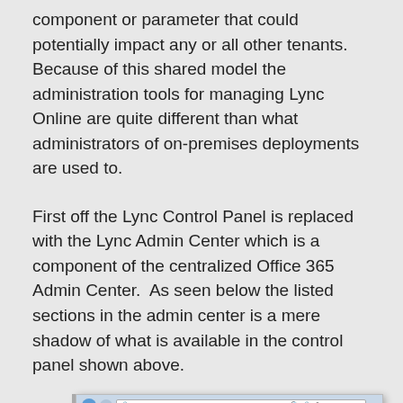component or parameter that could potentially impact any or all other tenants. Because of this shared model the administration tools for managing Lync Online are quite different than what administrators of on-premises deployments are used to.
First off the Lync Control Panel is replaced with the Lync Admin Center which is a component of the centralized Office 365 Admin Center.  As seen below the listed sections in the admin center is a mere shadow of what is available in the control panel shown above.
[Figure (screenshot): Screenshot of the Lync admin center in Office 365. Shows a browser window with the URL https://admin1a.online.lync.com/lcp/... and a tab labeled 'dashboard'. The page title bar shows 'Office 365 | Admin'. The left sidebar shows 'Lync admin center' header with navigation items: dashboard (active/selected), users, organization. The main content area shows 'Welcome' and 'User statistics' text.]